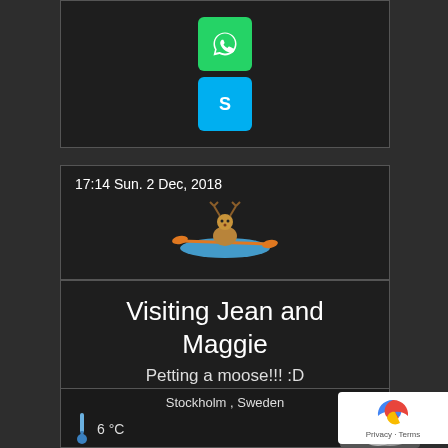[Figure (screenshot): WhatsApp and Skype app icon buttons (green and blue rounded squares)]
17:14 Sun.  2 Dec, 2018
[Figure (illustration): Cartoon deer in a kayak (canoeing) illustration]
Visiting Jean and Maggie
Petting a moose!!! :D
Tags: canoeing, food, friends, Jena, maggie, moose, moose safari, overcooked
Stockholm , Sweden
6 °C
Cloudy
[Figure (photo): Cloud/moose animal photo in weather panel]
[Figure (logo): Google reCAPTCHA badge with Privacy and Terms text]